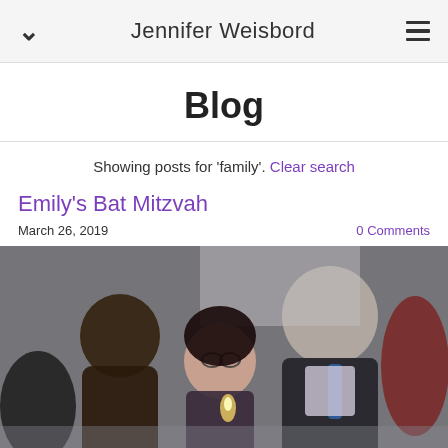Jennifer Weisbord
Blog
Showing posts for 'family'. Clear search
Emily's Bat Mitzvah
March 26, 2019    0 Comments
[Figure (photo): A family photo at Emily's Bat Mitzvah ceremony. A woman with curly dark hair and a girl wearing glasses are seen with a man in a suit and blue tie, the girl appears to be lighting or blowing on a candle.]